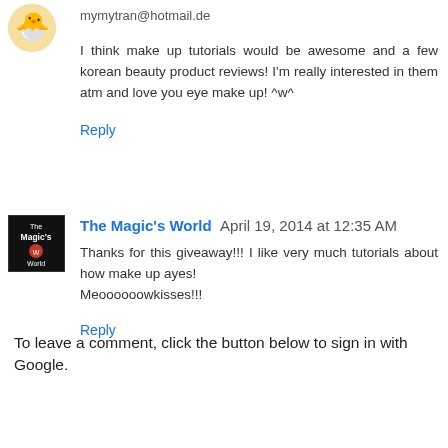mymytran@hotmail.de
I think make up tutorials would be awesome and a few korean beauty product reviews! I'm really interested in them atm and love you eye make up! ^w^
Reply
[Figure (logo): The Magic's World blog logo - black square with white text]
The Magic's World  April 19, 2014 at 12:35 AM
Thanks for this giveaway!!! I like very much tutorials about how make up ayes!
Meoooooowkisses!!!
Reply
To leave a comment, click the button below to sign in with Google.
SIGN IN WITH GOOGLE